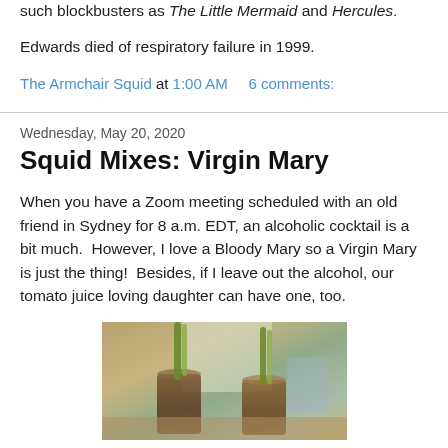such blockbusters as The Little Mermaid and Hercules.
Edwards died of respiratory failure in 1999.
The Armchair Squid at 1:00 AM    6 comments:
Wednesday, May 20, 2020
Squid Mixes: Virgin Mary
When you have a Zoom meeting scheduled with an old friend in Sydney for 8 a.m. EDT, an alcoholic cocktail is a bit much.  However, I love a Bloody Mary so a Virgin Mary is just the thing!  Besides, if I leave out the alcohol, our tomato juice loving daughter can have one, too.
[Figure (photo): Photo of two cocktail glasses with Virgin Mary drinks, garnished with celery stalks, on a table near a window with natural light]